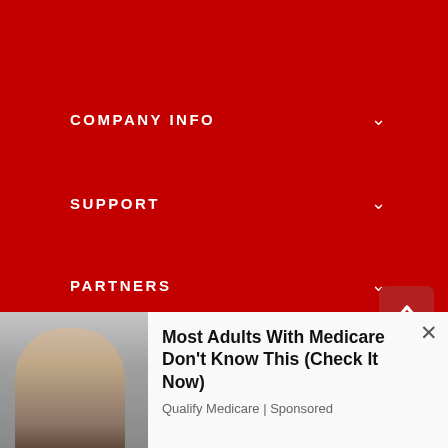COMPANY INFO
SUPPORT
PARTNERS
[Figure (logo): MyFreeGames.net logo with yellow mascot character]
[Figure (photo): Advertisement banner: woman photo on left, text on right]
Most Adults With Medicare Don't Know This (Check It Now)
Qualify Medicare | Sponsored